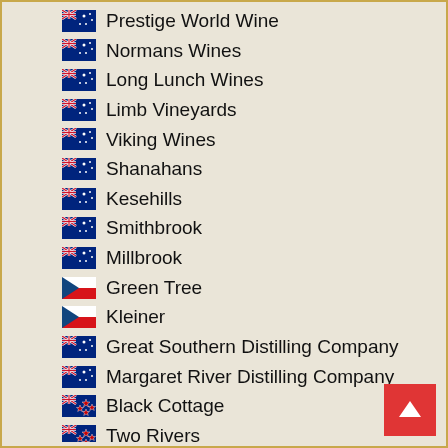Prestige World Wine
Normans Wines
Long Lunch Wines
Limb Vineyards
Viking Wines
Shanahans
Kesehills
Smithbrook
Millbrook
Green Tree
Kleiner
Great Southern Distilling Company
Margaret River Distilling Company
Black Cottage
Two Rivers
Hausberg Spirituosen
Viña Santa Alicia
Montalvo Wilmot
Grand Moueys
BOAR